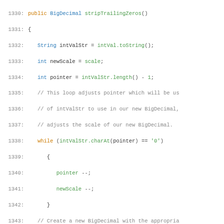[Figure (screenshot): Java source code snippet showing methods stripTrailingZeros(), longValue(), and floatValue() of a BigDecimal class, lines 1330-1359, with syntax highlighting in monospace font.]